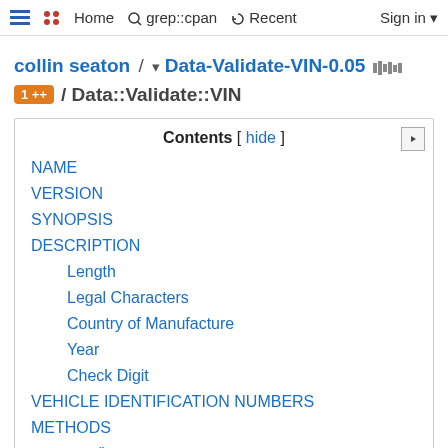Home  grep::cpan  Recent  Sign in
collin seaton / Data-Validate-VIN-0.05 / Data::Validate::VIN
Contents [ hide ]
NAME
VERSION
SYNOPSIS
DESCRIPTION
Length
Legal Characters
Country of Manufacture
Year
Check Digit
VEHICLE IDENTIFICATION NUMBERS
METHODS
new()